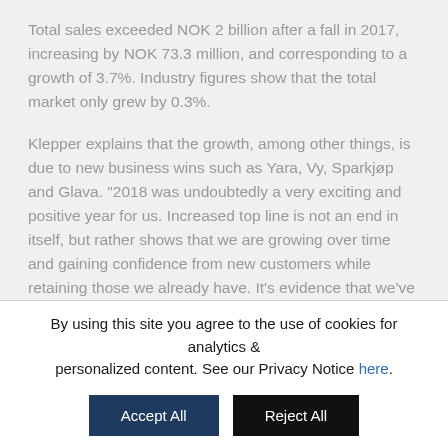Total sales exceeded NOK 2 billion after a fall in 2017, increasing by NOK 73.3 million, and corresponding to a growth of 3.7%. Industry figures show that the total market only grew by 0.3%.
Klepper explains that the growth, among other things, is due to new business wins such as Yara, Vy, Sparkjøp and Glava. "2018 was undoubtedly a very exciting and positive year for us. Increased top line is not an end in itself, but rather shows that we are growing over time and gaining confidence from new customers while retaining those we already have. It's evidence that we've succeeded in
By using this site you agree to the use of cookies for analytics & personalized content. See our Privacy Notice here.